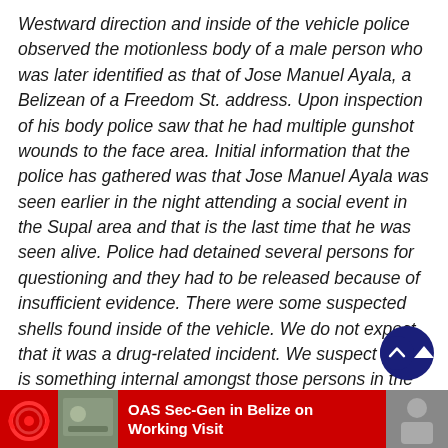Westward direction and inside of the vehicle police observed the motionless body of a male person who was later identified as that of Jose Manuel Ayala, a Belizean of a Freedom St. address. Upon inspection of his body police saw that he had multiple gunshot wounds to the face area. Initial information that the police has gathered was that Jose Manuel Ayala was seen earlier in the night attending a social event in the Supal area and that is the last time that he was seen alive. Police had detained several persons for questioning and they had to be released because of insufficient evidence. There were some suspected shells found inside of the vehicle. We do not expect that it was a drug-related incident. We suspect that it is something internal amongst those persons in the lane
OAS Sec-Gen in Belize on Working Visit